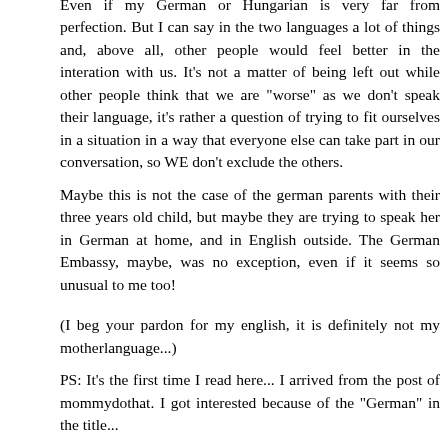Even if my German or Hungarian is very far from perfection. But I can say in the two languages a lot of things and, above all, other people would feel better in the interation with us. It's not a matter of being left out while other people think that we are "worse" as we don't speak their language, it's rather a question of trying to fit ourselves in a situation in a way that everyone else can take part in our conversation, so WE don't exclude the others.
Maybe this is not the case of the german parents with their three years old child, but maybe they are trying to speak her in German at home, and in English outside. The German Embassy, maybe, was no exception, even if it seems so unusual to me too!
(I beg your pardon for my english, it is definitely not my motherlanguage...)
PS: It's the first time I read here... I arrived from the post of mommydothat. I got interested because of the "German" in the title...